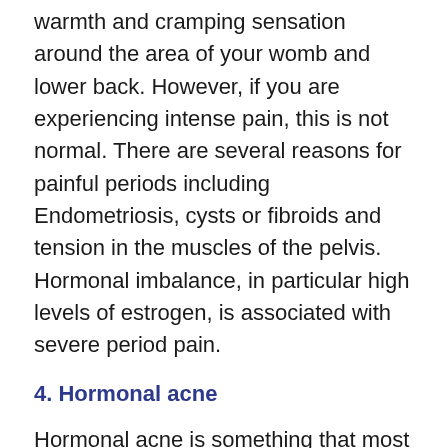warmth and cramping sensation around the area of your womb and lower back. However, if you are experiencing intense pain, this is not normal. There are several reasons for painful periods including Endometriosis, cysts or fibroids and tension in the muscles of the pelvis. Hormonal imbalance, in particular high levels of estrogen, is associated with severe period pain.
4. Hormonal acne
Hormonal acne is something that most of us women deal with at some point in our lives. Whether is it having a face full of spots as a teenager or breakouts before your period each month, it is something you are likely familiar with. But what if your hormonal acne is excessive or chronic lasting way past your teenage years? This is one of the hormonal imbalance...